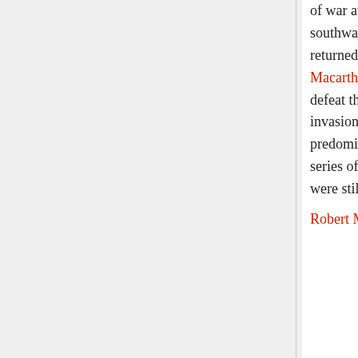of war at Changi, and later on the Thai-Burma Railway. By now, though, Japan's southward advance was slowing. Australian invasion fears were eased as AIF veterans returned from the Mediterranean, and United States forces under General Douglas Macarthur took over responsibility for Australia's defence. The Allies also began to defeat the Japanese in a series of decisive land and sea battles, and the threat of invasion faded further still. During 1943 and early 1944 Australian troops were predominantly involved in land battles in New Guinea. They also began, in 1944, a series of campaigns against the Japanese from Bougainville to Borneo. Australians were still fighting in Borneo when the war ended in August 1945.
Robert Menzies became Prime Minister...